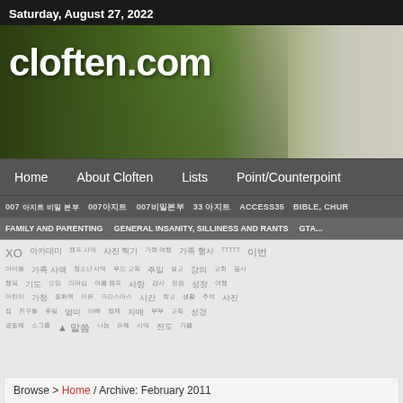Saturday, August 27, 2022
[Figure (photo): cloften.com website banner with family photo and green background]
Home | About Cloften | Lists | Point/Counterpoint
007 | 007 | 007 | 33 | ACCESS35 | BIBLE, CHUR...
FAMILY AND PARENTING | GENERAL INSANITY, SILLINESS AND RANTS | GTA...
Tag cloud with various topics
Browse > Home / Archive: February 2011